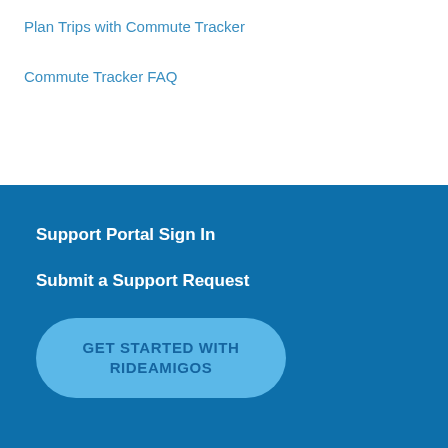Plan Trips with Commute Tracker
Commute Tracker FAQ
Support Portal Sign In
Submit a Support Request
GET STARTED WITH RIDEAMIGOS